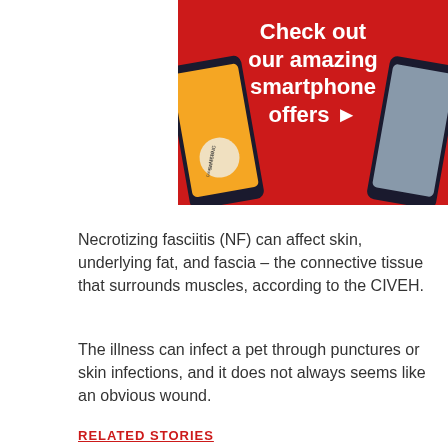[Figure (illustration): Advertisement banner with red background showing smartphones (Samsung Galaxy A52 5G and Samsung Galaxy S21 5G) with white bold text reading 'Check out our amazing smartphone offers ▶']
Necrotizing fasciitis (NF) can affect skin, underlying fat, and fascia – the connective tissue that surrounds muscles, according to the CIVEH.
The illness can infect a pet through punctures or skin infections, and it does not always seems like an obvious wound.
RELATED STORIES